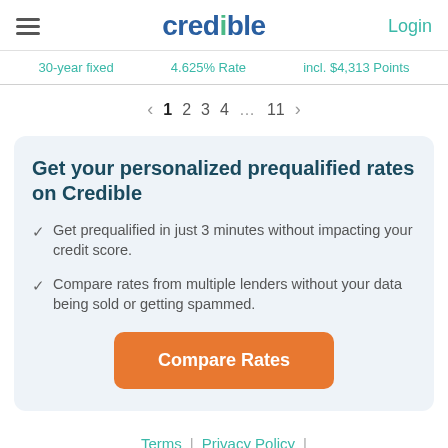credible | Login
30-year fixed   4.625% Rate   incl. $4,313 Points
< 1 2 3 4 ... 11 >
Get your personalized prequalified rates on Credible
Get prequalified in just 3 minutes without impacting your credit score.
Compare rates from multiple lenders without your data being sold or getting spammed.
Compare Rates
Terms | Privacy Policy |